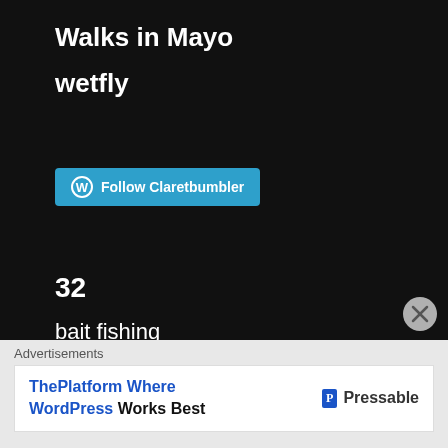Walks in Mayo
wetfly
[Figure (other): Follow Claretbumbler button with WordPress logo]
32
bait fishing
coarse fishing
dryfly
Fishing in Ireland
fly tying
Nymphs
Advertisements
[Figure (other): Pressable advertisement: ThePlatform Where WordPress Works Best]